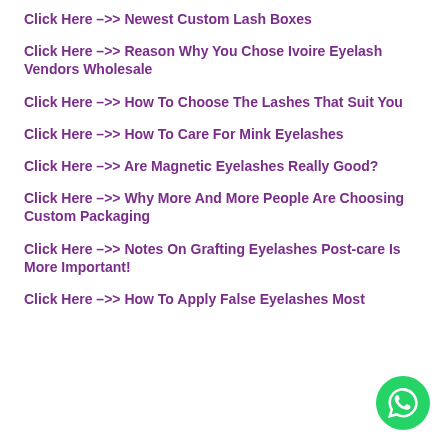Click Here –>> Newest Custom Lash Boxes
Click Here –>> Reason Why You Chose Ivoire Eyelash Vendors Wholesale
Click Here –>> How To Choose The Lashes That Suit You
Click Here –>> How To Care For Mink Eyelashes
Click Here –>> Are Magnetic Eyelashes Really Good?
Click Here –>> Why More And More People Are Choosing Custom Packaging
Click Here –>> Notes On Grafting Eyelashes Post-care Is More Important!
Click Here –>> How To Apply False Eyelashes Most
[Figure (logo): WhatsApp contact button - green circle with white phone handset icon]